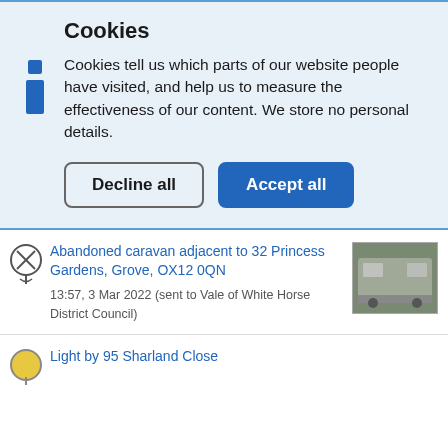Cookies
Cookies tell us which parts of our website people have visited, and help us to measure the effectiveness of our content. We store no personal details.
Decline all | Accept all
Abandoned caravan adjacent to 32 Princess Gardens, Grove, OX12 0QN
13:57, 3 Mar 2022 (sent to Vale of White Horse District Council)
Light by 95 Sharland Close